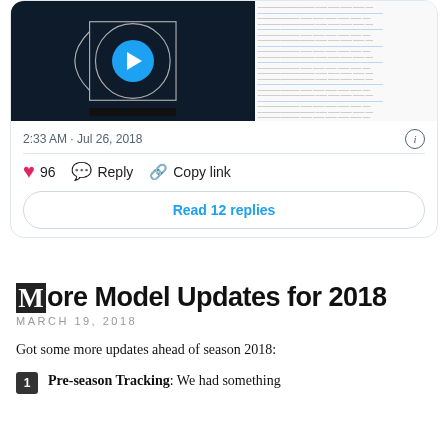[Figure (screenshot): Tweet card with a basketball court video thumbnail and a document image thumbnail side by side]
2:33 AM · Jul 26, 2018
96  Reply  Copy link
Read 12 replies
More Model Updates for 2018
MARCH 19, 2018
Got some more updates ahead of season 2018:
Pre-season Tracking: We had something